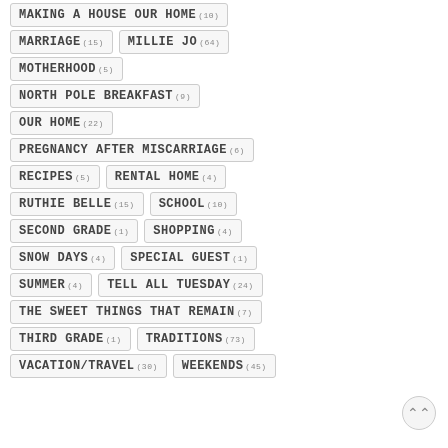MAKING A HOUSE OUR HOME (10)
MARRIAGE (15)  MILLIE JO (64)
MOTHERHOOD (5)
NORTH POLE BREAKFAST (9)
OUR HOME (22)
PREGNANCY AFTER MISCARRIAGE (6)
RECIPES (5)  RENTAL HOME (4)
RUTHIE BELLE (15)  SCHOOL (10)
SECOND GRADE (1)  SHOPPING (4)
SNOW DAYS (4)  SPECIAL GUEST (1)
SUMMER (4)  TELL ALL TUESDAY (24)
THE SWEET THINGS THAT REMAIN (7)
THIRD GRADE (1)  TRADITIONS (73)
VACATION/TRAVEL (30)  WEEKENDS (45)